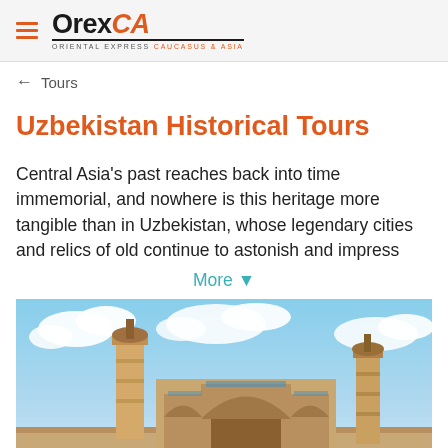OrexCA — ORIENTAL EXPRESS CAUCASUS & ASIA
← Tours
Uzbekistan Historical Tours
Central Asia's past reaches back into time immemorial, and nowhere is this heritage more tangible than in Uzbekistan, whose legendary cities and relics of old continue to astonish and impress
More ▾
[Figure (photo): Photograph of historic Uzbekistan monuments/minarets against a blue sky with clouds]